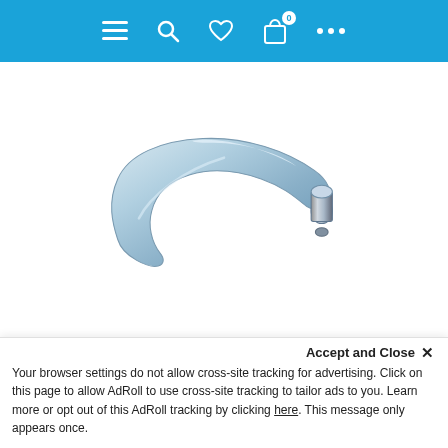Navigation bar with menu, search, wishlist, cart (0), and more icons
[Figure (photo): A metallic button stop hardware piece with a curved blade and a cylindrical pin/knob on one end, finished in silver/zinc plating, photographed on a white background.]
Button Stop (Pack of 10)
Price is for a pack of 10 button stops. Th
Accept and Close ×
Your browser settings do not allow cross-site tracking for advertising. Click on this page to allow AdRoll to use cross-site tracking to tailor ads to you. Learn more or opt out of this AdRoll tracking by clicking here. This message only appears once.